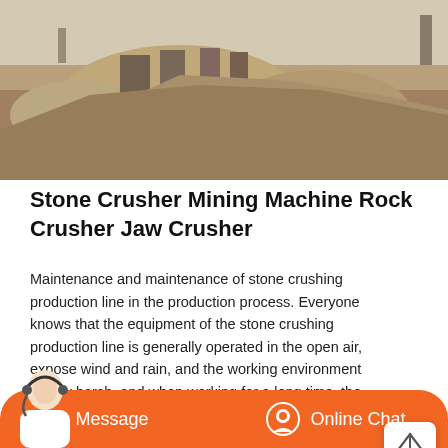[Figure (photo): Aerial/ground-level photo of a stone crushing site with rock piles, machinery, and green vegetation in the background.]
Stone Crusher Mining Machine Rock Crusher Jaw Crusher
Maintenance and maintenance of stone crushing production line in the production process. Everyone knows that the equipment of the stone crushing production line is generally operated in the open air, expose wind and rain, and the working environment is very harsh, and when working for a long time, the working strength of each part of the
[Figure (photo): Close-up photo of heavy machinery including a large flywheel/pulley of a jaw crusher with a person visible at lower left.]